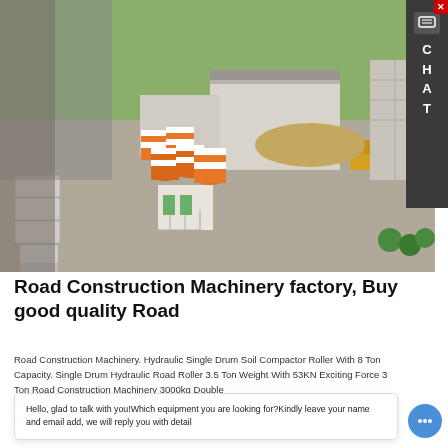[Figure (photo): Aerial/isometric rendering of a road construction machinery factory/plant with orange cylindrical silos, concrete mixing equipment, trucks, and industrial buildings surrounded by greenery.]
Road Construction Machinery factory, Buy good quality Road
Road Construction Machinery. Hydraulic Single Drum Soil Compactor Roller With 8 Ton Capacity. Single Drum Hydraulic Road Roller 3.5 Ton Weight With 53KN Exciting Force. 3 Ton Road Construction Machinery 3000kg Double Drum... Conf... Wheel Loader.
Hello, glad to talk with you!Which equipment you are looking for?Kindly leave your name and email add, we will reply you with detail